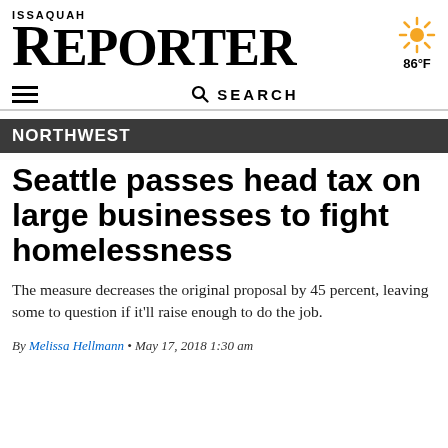ISSAQUAH REPORTER
[Figure (illustration): Sun weather icon with temperature 86°F]
NORTHWEST
Seattle passes head tax on large businesses to fight homelessness
The measure decreases the original proposal by 45 percent, leaving some to question if it'll raise enough to do the job.
By Melissa Hellmann • May 17, 2018 1:30 am